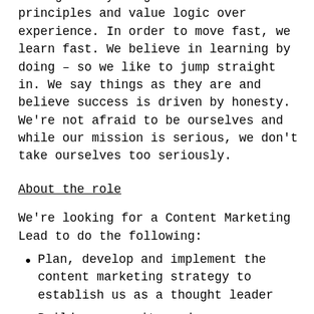through everything from first principles and value logic over experience. In order to move fast, we learn fast. We believe in learning by doing – so we like to jump straight in. We say things as they are and believe success is driven by honesty. We're not afraid to be ourselves and while our mission is serious, we don't take ourselves too seriously.
About the role
We're looking for a Content Marketing Lead to do the following:
Plan, develop and implement the content marketing strategy to establish us as a thought leader
Build a community and own our newsletter
Build out our blog and online presence in order